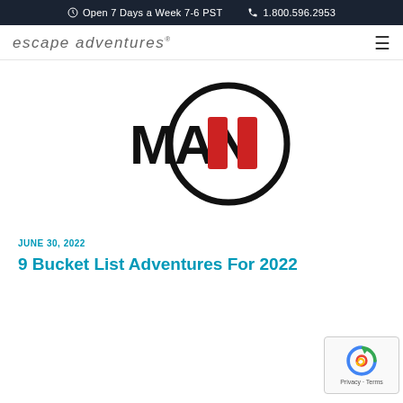Open 7 Days a Week 7-6 PST   1.800.596.2953
[Figure (logo): Escape Adventures logo — lowercase italic text 'escape adventures' with registered trademark symbol]
[Figure (logo): MAN II logo — bold black text 'MAN' next to a circle containing two red vertical rectangles (pause symbol)]
JUNE 30, 2022
9 Bucket List Adventures For 2022